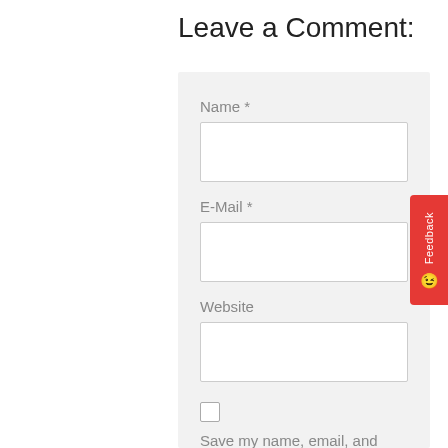Leave a Comment:
Name *
E-Mail *
Website
Save my name, email, and website in this browser for the